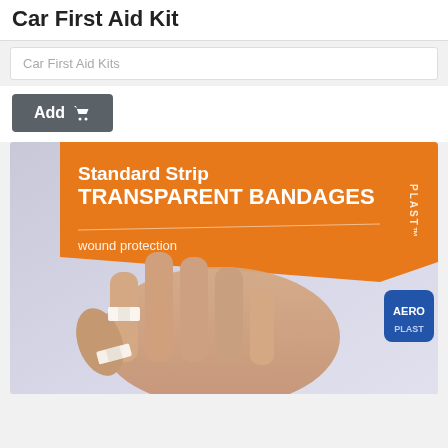Car First Aid Kit
Car First Aid Kits
Add
[Figure (photo): Product packaging for Aeroplast Standard Strip Transparent Bandages - wound protection. Shows an orange and grey package with a hand applying a transparent bandage, with the Aeroplast logo in blue.]